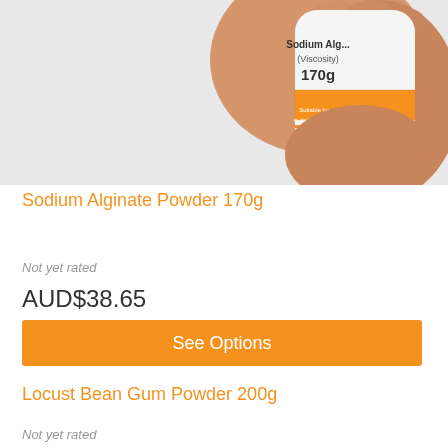[Figure (photo): Hand holding a white bottle of Sodium Alginate (Viscosity) 170g with an orange label and honeycomb pattern]
Sodium Alginate Powder 170g
Not yet rated
AUD$38.65
See Options
Locust Bean Gum Powder 200g
Not yet rated